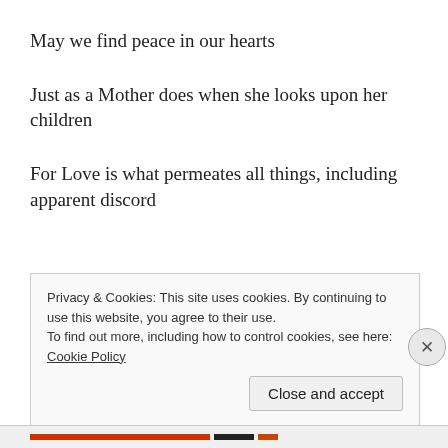May we find peace in our hearts
Just as a Mother does when she looks upon her children
For Love is what permeates all things, including apparent discord
May we remember we came here to learn and rejoice within your realms of abundance
Privacy & Cookies: This site uses cookies. By continuing to use this website, you agree to their use.
To find out more, including how to control cookies, see here: Cookie Policy
Close and accept